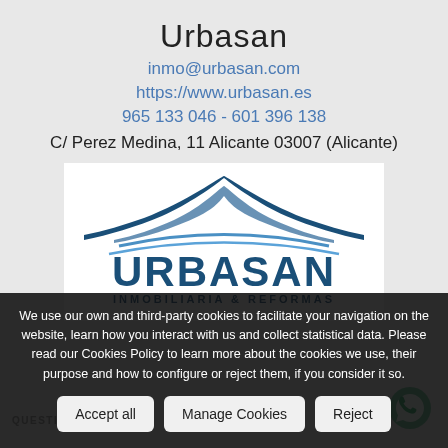Urbasan
inmo@urbasan.com
https://www.urbasan.es
965 133 046 - 601 396 138
C/ Perez Medina, 11 Alicante 03007 (Alicante)
[Figure (logo): Urbasan Inmobiliaria & Reformas logo with blue roof/mountain shape above bold blue URBASAN text and subtitle INMOBILIARIA & REFORMAS]
We use our own and third-party cookies to facilitate your navigation on the website, learn how you interact with us and collect statistical data. Please read our Cookies Policy to learn more about the cookies we use, their purpose and how to configure or reject them, if you consider it so.
Accept all
Manage Cookies
Reject
QUESTION?